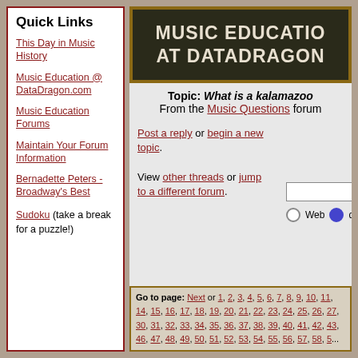Quick Links
This Day in Music History
Music Education @ DataDragon.com
Music Education Forums
Maintain Your Forum Information
Bernadette Peters - Broadway's Best
Sudoku (take a break for a puzzle!)
[Figure (screenshot): Chalkboard banner reading MUSIC EDUCATION AT DATADRAGON]
Topic: What is a kalamazoo
From the Music Questions forum
Post a reply or begin a new topic. View other threads or jump to a different forum.
Go to page: Next or 1, 2, 3, 4, 5, 6, 7, 8, 9, 10, 11, 14, 15, 16, 17, 18, 19, 20, 21, 22, 23, 24, 25, 26, 27, 30, 31, 32, 33, 34, 35, 36, 37, 38, 39, 40, 41, 42, 43, 46, 47, 48, 49, 50, 51, 52, 53, 54, 55, 56, 57, 58, 5...